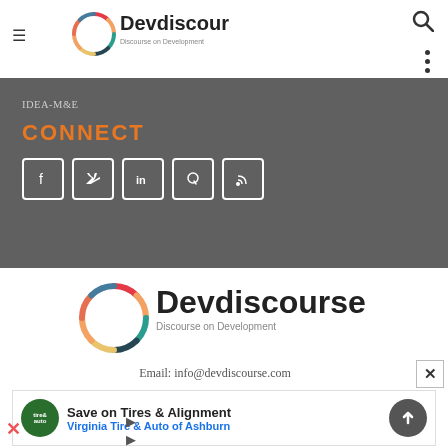Devdiscourse — Discourse on Development
IDEA-M&E
CONNECT
[Figure (illustration): Social media icons: Facebook, Twitter, LinkedIn, Quora, RSS feed — white outlined squares on dark gray background]
[Figure (logo): Devdiscourse logo — colorful circular SDG-style ring with 'Devdiscourse' text and 'Discourse on Development' tagline]
Email: info@devdiscourse.com
[Figure (infographic): Advertisement banner: tire and auto shop logo circle, 'Save on Tires & Alignment', 'Virginia Tire & Auto of Ashburn' in blue, blue badge and scroll-to-top button]